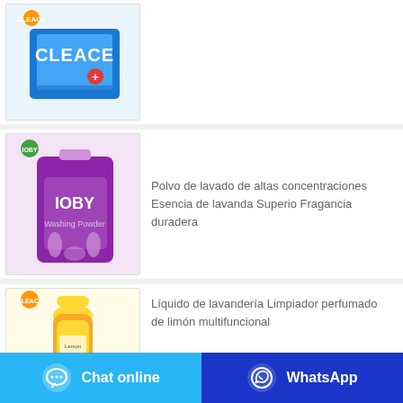[Figure (photo): Cleace laundry soap bar box, blue packaging with white cross symbol]
[Figure (photo): IOBY washing powder purple bag with lavender scent branding]
Polvo de lavado de altas concentraciones Esencia de lavanda Superio Fragancia duradera
[Figure (photo): Cleace liquid laundry cleaner with lemon fragrance, yellow bottle]
Líquido de lavandería Limpiador perfumado de limón multifuncional
[Figure (infographic): Chat online button (light blue) and WhatsApp button (dark blue) at the bottom of the page]